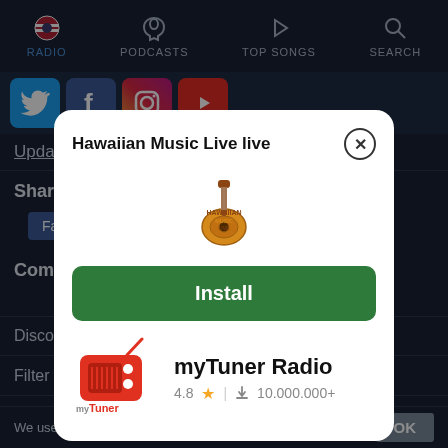RADIO | PODCASTS | TOP SONGS | SEARCH
[Figure (screenshot): Social media icons row: Twitter, Facebook, Instagram, YouTube]
Update th...
Share
Facebook
Comme...
Discover r...
Filter radio by location
[Figure (screenshot): Modal popup: Hawaiian Music Live live install prompt with myTuner Radio app, rated 4.8 stars, 10.000.000+ downloads]
We use cookies to enhance your experience. Learn more. OK